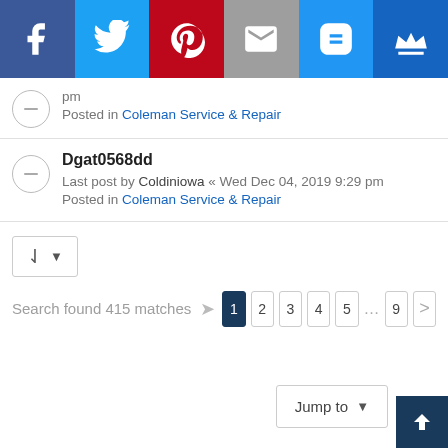[Figure (infographic): Social media sharing bar with Facebook (blue), Twitter (light blue), Pinterest (red), Email (gray), SMS (blue), and crown icon (dark blue) buttons]
pm
Posted in Coleman Service & Repair
Dgat0568dd
Last post by Coldiniowa « Wed Dec 04, 2019 9:29 pm
Posted in Coleman Service & Repair
Search found 415 matches  1 2 3 4 5 … 9 >
Jump to ▼